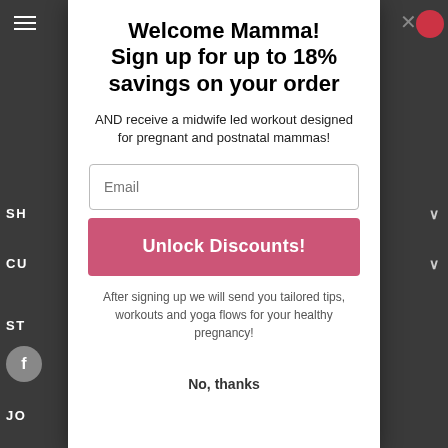[Figure (screenshot): Website popup modal overlay on dark navigation background. Modal contains a heading, subheading, email input field, pink call-to-action button, additional text, and a dismiss link.]
Welcome Mamma! Sign up for up to 18% savings on your order
AND receive a midwife led workout designed for pregnant and postnatal mammas!
After signing up we will send you tailored tips, workouts and yoga flows for your healthy pregnancy!
No, thanks